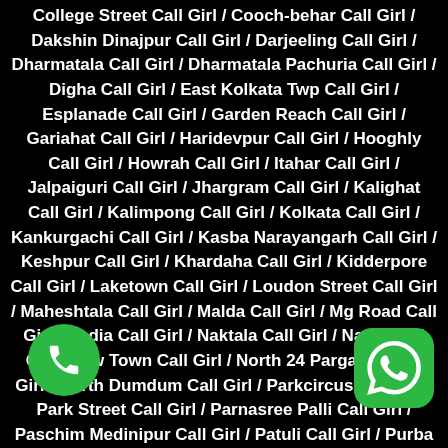College Street Call Girl / Cooch-behar Call Girl / Dakshin Dinajpur Call Girl / Darjeeling Call Girl / Dharmatala Call Girl / Dharmatala Pachuria Call Girl / Digha Call Girl / East Kolkata Twp Call Girl / Esplanade Call Girl / Garden Reach Call Girl / Gariahat Call Girl / Haridevpur Call Girl / Hooghly Call Girl / Howrah Call Girl / Itahar Call Girl / Jalpaiguri Call Girl / Jhargram Call Girl / Kalighat Call Girl / Kalimpong Call Girl / Kolkata Call Girl / Kankurgachi Call Girl / Kasba Narayangarh Call Girl / Keshpur Call Girl / Khardaha Call Girl / Kidderpore Call Girl / Laketown Call Girl / Loudon Street Call Girl / Maheshtala Call Girl / Malda Call Girl / Mg Road Call Girl / Nadia Call Girl / Naktala Call Girl / Nangi Call Girl / New Town Call Girl / North 24 Parganas Call Girl / North Dumdum Call Girl / Parkcircus Call Girl / Park Street Call Girl / Parnasree Palli Call Girl / Paschim Medinipur Call Girl / Patuli Call Girl / Purba Bardhaman Call Girl / Purba Medinipur Call Girl / Call Girl / Rajarahat Call Girl / Rajpur Sonarpur Call / Rashbehari Call Girl / Rawdon Call Girl / Salt L... Call Girl / Santoshpur Call Girl / Santragachi Call G... Sealdah Call Girl / Sector V Call Girl / Shakespeare Sarani